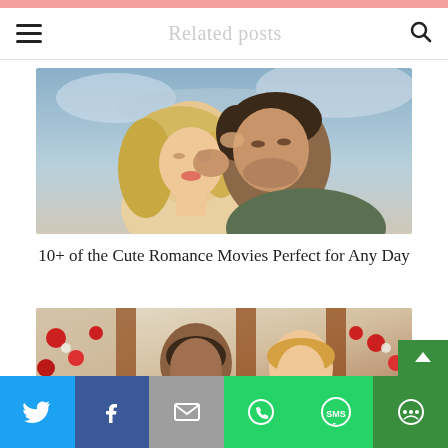Related posts
[Figure (photo): A couple in a romantic close-up, the woman has blonde hair and the man has dark hair, about to kiss, with a cloudy sky background]
10+ of the Cute Romance Movies Perfect for Any Day
[Figure (photo): A couple in a romantic scene with Christmas/holiday decorations and red roses in the background]
[Figure (infographic): Social share bar with Twitter, Facebook, Email, WhatsApp, SMS, and More buttons]